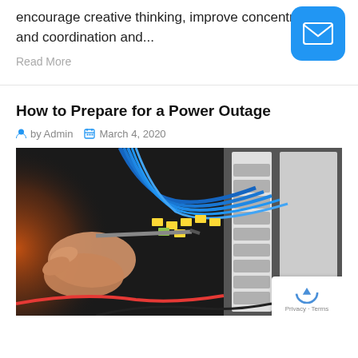encourage creative thinking, improve concentration and coordination and...
Read More
How to Prepare for a Power Outage
by Admin   March 4, 2020
[Figure (photo): Hands using a screwdriver on an electrical panel with blue, yellow, and green wires and circuit breakers]